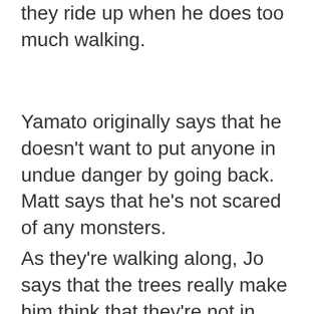they ride up when he does too much walking.
Yamato originally says that he doesn't want to put anyone in undue danger by going back. Matt says that he's not scared of any monsters.
As they're walking along, Jo says that the trees really make him think that they're not in Japan anymore. Yamato responds by
Privacy & Cookies: This site uses cookies. By continuing to use this website, you agree to their use.
To find out more, including how to control cookies, see here: Cookie Policy
responds by asking if there's anything Joe is...